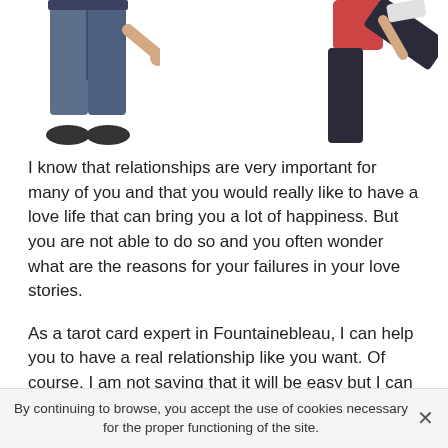[Figure (illustration): Two people figures: on the left, lower body of a man in jeans; on the right, a woman in dark pants with one leg kicked up]
I know that relationships are very important for many of you and that you would really like to have a love life that can bring you a lot of happiness. But you are not able to do so and you often wonder what are the reasons for your failures in your love stories.
As a tarot card expert in Fountainebleau, I can help you to have a real relationship like you want. Of course, I am not saying that it will be easy but I can assure you that it is not at all impossible because everyone can find true love.
To get there, it is both very simple and complicated because on my side I will bring you the answers you are
By continuing to browse, you accept the use of cookies necessary for the proper functioning of the site.